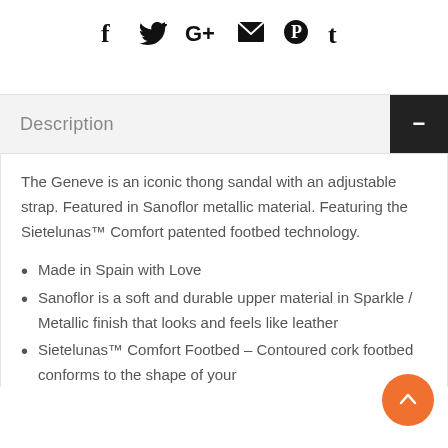[Figure (other): Social media share icons: Facebook (f), Twitter (bird), Google+ (G+), Email (envelope), Pinterest (P), Tumblr (t)]
Description
The Geneve is an iconic thong sandal with an adjustable strap. Featured in Sanoflor metallic material. Featuring the Sietelunas™ Comfort patented footbed technology.
Made in Spain with Love
Sanoflor is a soft and durable upper material in Sparkle / Metallic finish that looks and feels like leather
Sietelunas™ Comfort Footbed – Contoured cork footbed conforms to the shape of your…